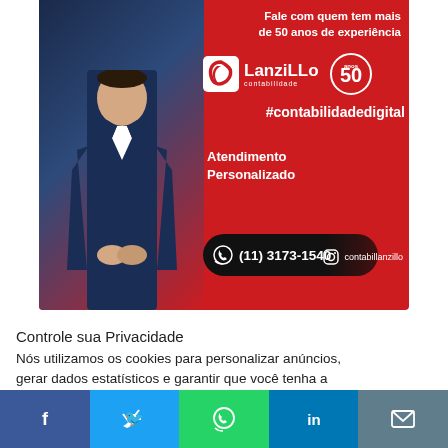[Figure (illustration): LanziLlo Contabilidade advertisement banner. Red background with a man in a suit on the left. Text: 'Fale com quem tem mais de 50 anos de experiência', LanziLLo contabilidade logo with 50 anos badge, '#contabilidadedigital', 'Atendimento Personalizado', phone number '(11) 3173-1540' with WhatsApp icon, and Instagram handle 'contabillanzillo'.]
Controle sua Privacidade
Nós utilizamos os cookies para personalizar anúncios, gerar dados estatísticos e garantir que você tenha a melhor experiência no site..
[Figure (infographic): Social share bar at bottom with Facebook (blue), Twitter (light blue), WhatsApp (green), LinkedIn (blue), and Email (grey) icons.]